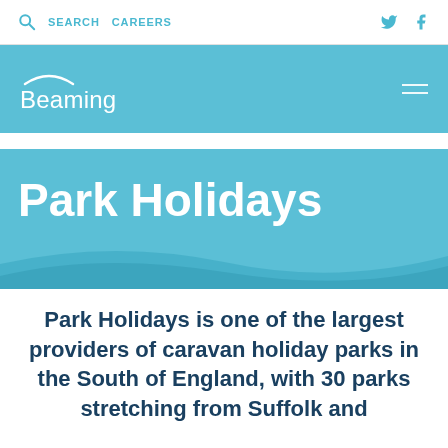SEARCH  CAREERS
[Figure (logo): Beaming logo with arc above text on teal background]
Park Holidays
Park Holidays is one of the largest providers of caravan holiday parks in the South of England, with 30 parks stretching from Suffolk and